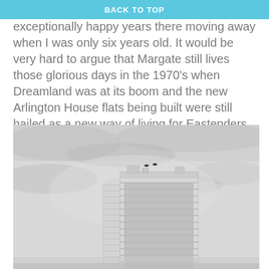BACK TO TOP
I grew up in Margate and had two exceptionally happy years there moving away when I was only six years old. It would be very hard to argue that Margate still lives those glorious days in the 1970's when Dreamland was at its boom and the new Arlington House flats being built were still hailed as a new way of living for Eastenders moving out from town to a new idyllic life by the sea.
[Figure (photo): Black and white photograph of a tall brutalist tower block (Arlington House, Margate) against a cloudy sky, with two birds flying above the building.]